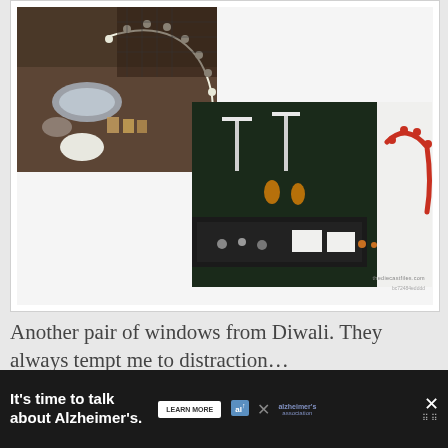[Figure (photo): Collage of two jewelry display photos: left photo shows silver jewelry including bracelets, necklaces on dark wood table; right photo shows earrings and necklaces on white display stands with red beaded necklace on mannequin. Watermark reads thediecastfiles.com]
Another pair of windows from Diwali. They always tempt me to distraction…
[Figure (photo): Partial view of jewelry display photos: teal/turquoise cloth with dark necklace on left, red patterned fabric on right, partial grey area]
It's time to talk about Alzheimer's.
LEARN MORE
ALZHEIMER'S ASSOCIATION